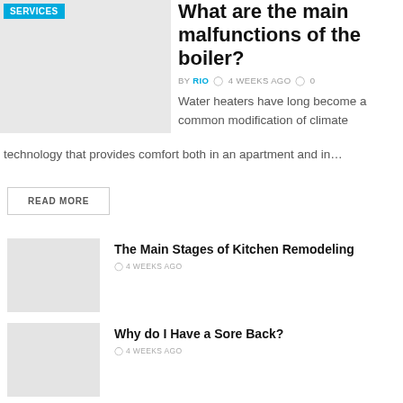SERVICES
What are the main malfunctions of the boiler?
BY RIO  4 WEEKS AGO  0
Water heaters have long become a common modification of climate technology that provides comfort both in an apartment and in…
READ MORE
The Main Stages of Kitchen Remodeling
4 WEEKS AGO
Why do I Have a Sore Back?
4 WEEKS AGO
5 Home Remedies For Shoulder Pain
4 WEEKS AGO
How Common Is Hair Loss?